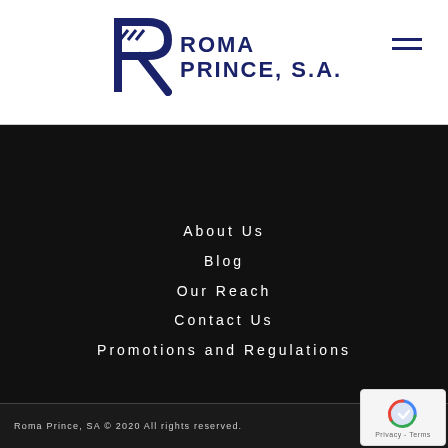[Figure (logo): Roma Prince, S.A. logo with stylized R letter mark in dark navy blue and company name text]
About Us
Blog
Our Reach
Contact Us
Promotions and Regulations
Roma Prince, SA © 2020 All rights reserved.